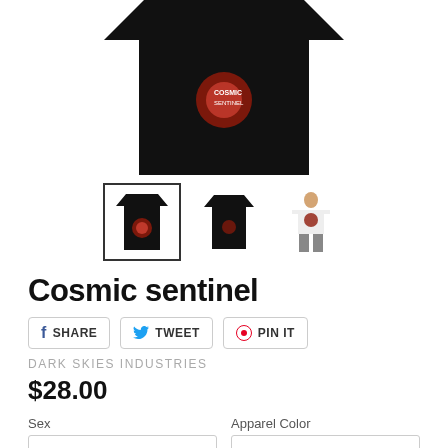[Figure (photo): Main product photo of a black t-shirt with graphic design, cropped at top]
[Figure (photo): Three product thumbnail images: selected black tshirt with graphic (bordered), plain black tshirt, person wearing white tank top with graphic]
Cosmic sentinel
SHARE   TWEET   PIN IT
DARK SKIES INDUSTRIES
$28.00
Sex
Apparel Color